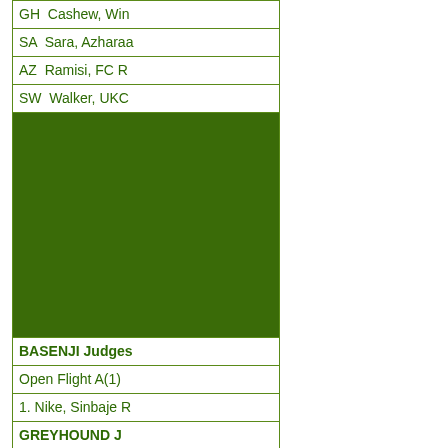| GH  Cashew, Wi... |
| SA  Sara, Azhara... |
| AZ  Ramisi, FC R... |
| SW  Walker, UKC... |
| [green block] |
| BASENJI Judges... |
| Open Flight A(1) |
| 1. Nike, Sinbaje R... |
| GREYHOUND J... |
| Field Champion R... |
| 1. Tull, Lakilanni... |
| 2. Alice, FC Goli... |
| 3. Sunspot, DC L... |
| 4. Lottie, Lakilan... |
| LCI LARGE Jud... |
| Open Flight A(5) |
| 1. Phoenix, Phoe... |
| 2. Jethro, Loretta'... |